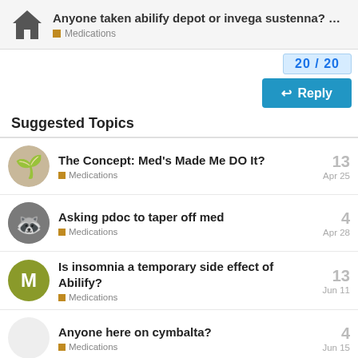Anyone taken abilify depot or invega sustenna? ... | Medications
Suggested Topics
The Concept: Med's Made Me DO It? | Medications | 13 | Apr 25
Asking pdoc to taper off med | Medications | 4 | Apr 28
Is insomnia a temporary side effect of Abilify? | Medications | 13 | Jun 11
Anyone here on cymbalta? | Medications | 4 | Jun 15
40 mgs Geodon = x seroquel? | 6